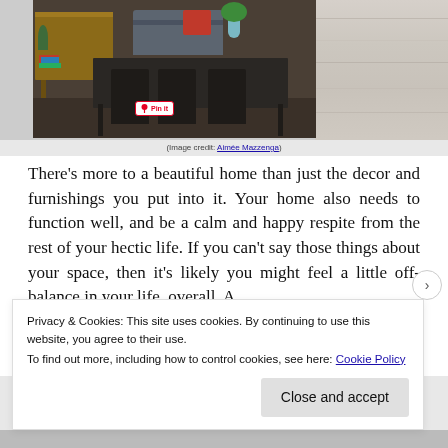[Figure (photo): Interior dining room scene with dark table, black chairs, wooden sideboard, sofa in background, plant and blue vase. Pinterest 'Pin it' badge overlaid. Right side shows light wood grain texture. (Image credit: Aimée Mazzenga)]
(Image credit: Aimée Mazzenga)
There's more to a beautiful home than just the decor and furnishings you put into it. Your home also needs to function well, and be a calm and happy respite from the rest of your hectic life. If you can't say those things about your space, then it's likely you might feel a little off-balance in your life, overall. A
Privacy & Cookies: This site uses cookies. By continuing to use this website, you agree to their use.
To find out more, including how to control cookies, see here: Cookie Policy
Close and accept